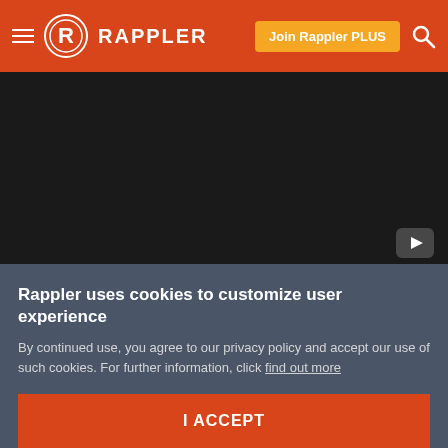RAPPLER | Join Rappler PLUS
[Figure (screenshot): Dark video player area with a YouTube play button in the bottom right corner]
– Rappler.com
Want to visit Iceland? Check out our coupons section for the best deals on travel and hotels.
Rappler uses cookies to customize user experience
By continued use, you agree to our privacy policy and accept our use of such cookies. For further information, click find out more
I ACCEPT